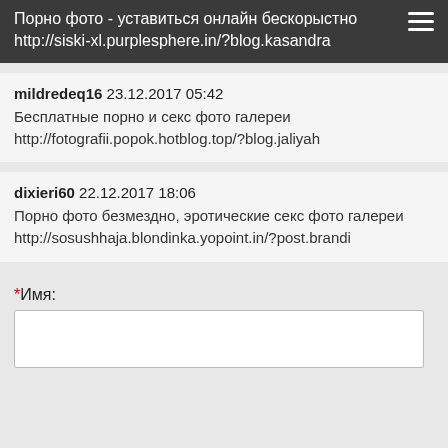Порно фото - уставиться онлайн бескорыстно
http://siski-xl.purplesphere.in/?blog.kasandra
mildredeq16 23.12.2017 05:42
Бесплатные порно и секс фото галереи
http://fotografii.popok.hotblog.top/?blog.jaliyah
dixieri60 22.12.2017 18:06
Порно фото безмездно, эротические секс фото галереи
http://sosushhaja.blondinka.yopoint.in/?post.brandi
*Имя: